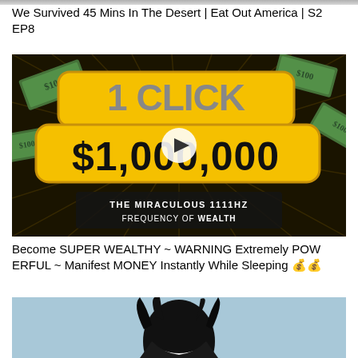[Figure (screenshot): Partial top edge of a video thumbnail (cropped)]
We Survived 45 Mins In The Desert | Eat Out America | S2 EP8
[Figure (screenshot): Video thumbnail: dark starburst background with flying dollar bills, large yellow text '1 CLICK $1,000,000' with a play button in center, bottom text 'THE MIRACULOUS 1111hz FREQUENCY OF WEALTH']
Become SUPER WEALTHY ~ WARNING Extremely POWERFUL ~ Manifest MONEY Instantly While Sleeping 💰💰
[Figure (screenshot): Partial video thumbnail showing dark anime-style character, cropped at bottom of page]